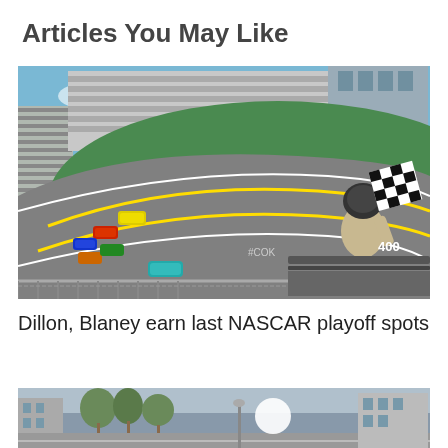Articles You May Like
[Figure (photo): Aerial fisheye photo of Daytona International Speedway during a NASCAR race. Multiple stock cars visible on the track, person waving checkered flag in foreground, 'DAYTONA' written in large letters on the infield grass, grandstands full of spectators.]
Dillon, Blaney earn last NASCAR playoff spots
[Figure (photo): Street scene photo showing trees and buildings, partially visible at bottom of page.]